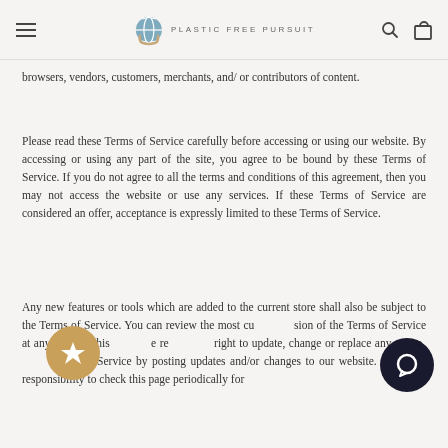Plastic Free Pursuit
browsers, vendors, customers, merchants, and/ or contributors of content.
Please read these Terms of Service carefully before accessing or using our website. By accessing or using any part of the site, you agree to be bound by these Terms of Service. If you do not agree to all the terms and conditions of this agreement, then you may not access the website or use any services. If these Terms of Service are considered an offer, acceptance is expressly limited to these Terms of Service.
Any new features or tools which are added to the current store shall also be subject to the Terms of Service. You can review the most current version of the Terms of Service at any time on this page. We reserve the right to update, change or replace any part of these Terms of Service by posting updates and/or changes to our website. It is your responsibility to check this page periodically for